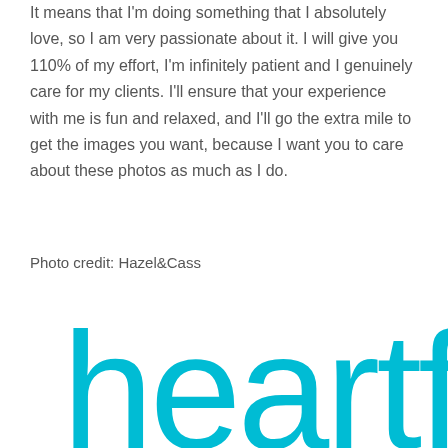It means that I'm doing something that I absolutely love, so I am very passionate about it. I will give you 110% of my effort, I'm infinitely patient and I genuinely care for my clients. I'll ensure that your experience with me is fun and relaxed, and I'll go the extra mile to get the images you want, because I want you to care about these photos as much as I do.
Photo credit: Hazel&Cass
[Figure (logo): Partial view of 'heartfelt' logo in cyan/blue color, large stylized lowercase text partially visible at bottom of page]